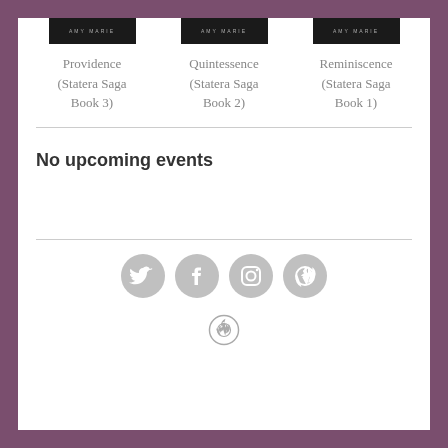[Figure (illustration): Three book covers with dark background labeled AMY MARIE in uppercase]
Providence (Statera Saga Book 3)
Quintessence (Statera Saga Book 2)
Reminiscence (Statera Saga Book 1)
No upcoming events
[Figure (illustration): Social media icons: Twitter, Facebook, Instagram, WordPress]
[Figure (logo): WordPress logo icon at bottom center]